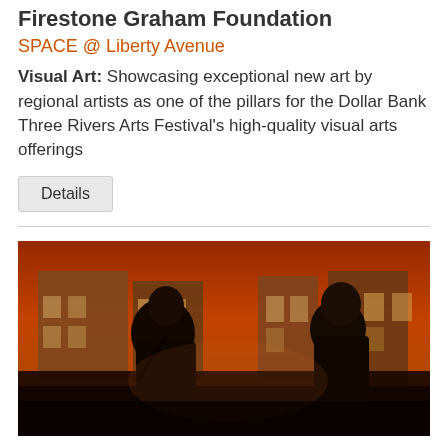Firestone Graham Foundation
SPACE @ Liberty Avenue
Visual Art: Showcasing exceptional new art by regional artists as one of the pillars for the Dollar Bank Three Rivers Arts Festival's high-quality visual arts offerings
Details
[Figure (photo): Painting showing silhouettes of two people viewed from behind against an urban backdrop with brick buildings and a warm orange/amber sky]